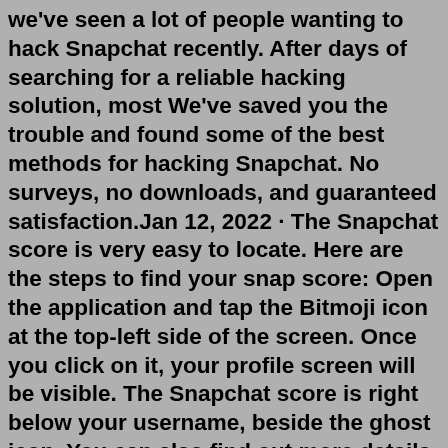we've seen a lot of people wanting to hack Snapchat recently. After days of searching for a reliable hacking solution, most We've saved you the trouble and found some of the best methods for hacking Snapchat. No surveys, no downloads, and guaranteed satisfaction.Jan 12, 2022 · The Snapchat score is very easy to locate. Here are the steps to find your snap score: Open the application and tap the Bitmoji icon at the top-left side of the screen. Once you click on it, your profile screen will be visible. The Snapchat score is right below your username, beside the ghost icon. You can also find out more details that went ... How do you increase your Snapchat score? For those looking to increase their Snapscore, it can be done in several ways. One of the most popular ways to increase a Snapscore is by simply using the app more. According to Business Insider, users also get bonus points for things like sending Snaps to...Your Snapchat score will only increase by sending photo and video Snaps. Text messages sent through the Snapchat app do not count. You don't get extra points